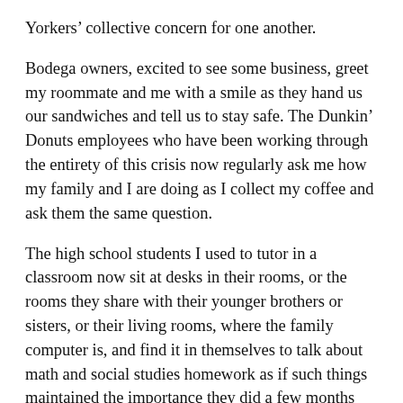Yorkers' collective concern for one another.
Bodega owners, excited to see some business, greet my roommate and me with a smile as they hand us our sandwiches and tell us to stay safe. The Dunkin' Donuts employees who have been working through the entirety of this crisis now regularly ask me how my family and I are doing as I collect my coffee and ask them the same question.
The high school students I used to tutor in a classroom now sit at desks in their rooms, or the rooms they share with their younger brothers or sisters, or their living rooms, where the family computer is, and find it in themselves to talk about math and social studies homework as if such things maintained the importance they did a few months ago. They talk about getting up early for online classes and assignments; they talk about the creative ways they keep busy; they talk about who